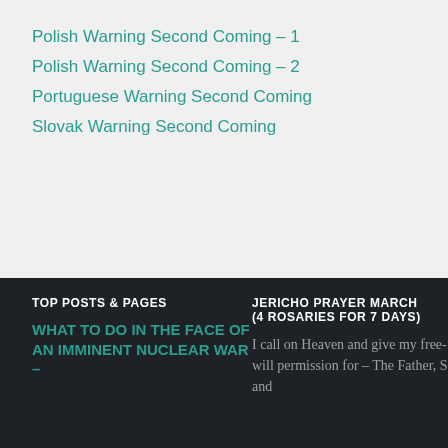Polish Warning Second Coming – 1
Polish Warning Second Coming – 2
Portuguese Warning Second Coming
Slovak Warning Second Coming
TOP POSTS & PAGES
JERICHO PRAYER MARCH (4 ROSARIES FOR 7 DAYS)
WHAT TO DO IN THE FACE OF AN IMMINENT NUCLEAR WAR –
I call on Heaven and give my free-will permission for – The Father, Son and